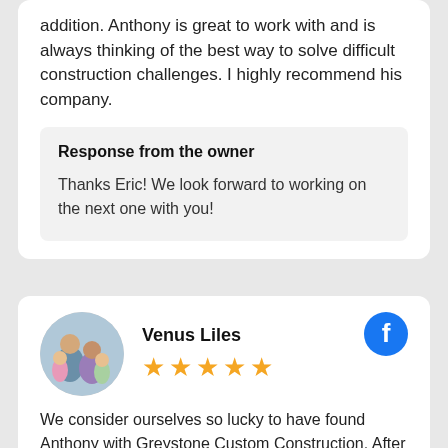addition. Anthony is great to work with and is always thinking of the best way to solve difficult construction challenges. I highly recommend his company.
Response from the owner
Thanks Eric! We look forward to working on the next one with you!
Venus Liles
[Figure (other): Five gold star rating]
We consider ourselves so lucky to have found Anthony with Greystone Custom Construction. After being referred by a